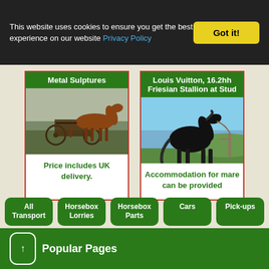This website uses cookies to ensure you get the best experience on our website Privacy Policy
Got it!
Metal Sulptures
[Figure (photo): A chestnut horse pulling a cart, metal sculpture style]
Price includes UK delivery.
Louis Vuitton, 16.2hh Friesian Stallion at Stud
[Figure (photo): A black Friesian stallion standing in a field]
Accommodation for mare can be provided
All Transport
Horsebox Lorries
Horsebox Parts
Cars
Pick-ups
Popular Pages